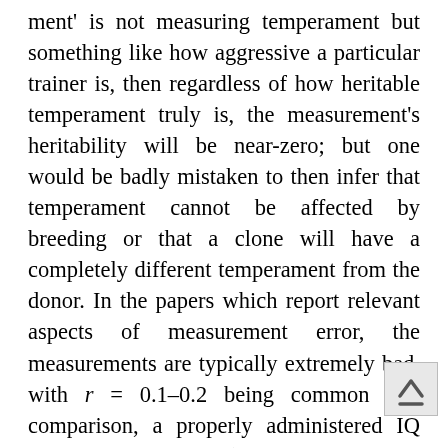ment' is not measuring temperament but something like how aggressive a particular trainer is, then regardless of how heritable temperament truly is, the measurement's heritability will be near-zero; but one would be badly mistaken to then infer that temperament cannot be affected by breeding or that a clone will have a completely different temperament from the donor. In the papers which report relevant aspects of measurement error, the measurements are typically extremely bad, with r = 0.1–0.2 being common (for comparison, a properly administered IQ test will be r > 0.8). If one adjusts a measured heritability estimate like 0.09 for such noisy measurements, the true heritability could be easily be 0.66 or higher. MacLean... 2019 reports a set of behavioral trait heritabilities within-breed averaging ~0.15 (see also table 4, Ilska... 2017), using the C-BARQ inventory, developed with factor analy